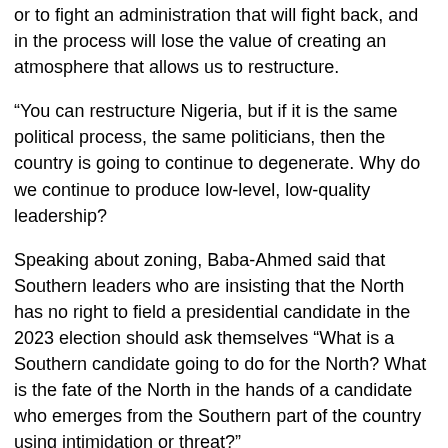or to fight an administration that will fight back, and in the process will lose the value of creating an atmosphere that allows us to restructure.
“You can restructure Nigeria, but if it is the same political process, the same politicians, then the country is going to continue to degenerate. Why do we continue to produce low-level, low-quality leadership?
Speaking about zoning, Baba-Ahmed said that Southern leaders who are insisting that the North has no right to field a presidential candidate in the 2023 election should ask themselves “What is a Southern candidate going to do for the North? What is the fate of the North in the hands of a candidate who emerges from the Southern part of the country using intimidation or threat?”
The NEF spokesperson pointed out that though they have